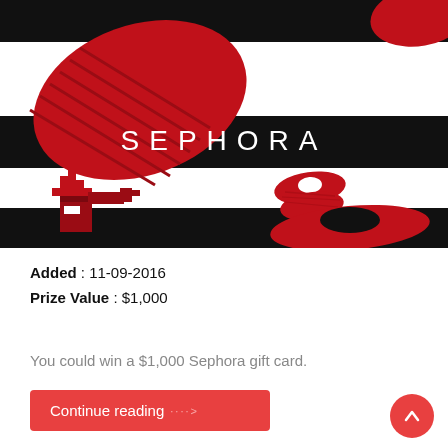[Figure (illustration): Sephora gift card image with black and white stripes, red lips and lipstick graphics, and SEPHORA text in white on black band]
Added : 11-09-2016
Prize Value : $1,000
You could win a $1,000 Sephora gift card.
Continue reading ····>